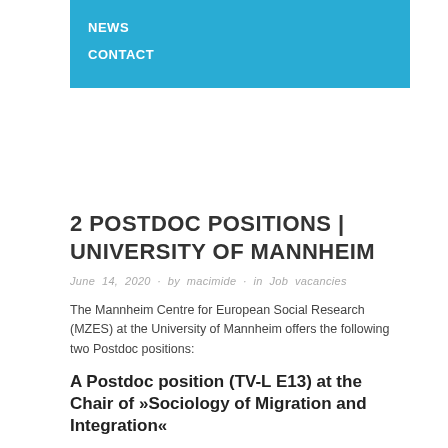NEWS
CONTACT
2 POSTDOC POSITIONS | UNIVERSITY OF MANNHEIM
June 14, 2020 · by macimide · in Job vacancies
The Mannheim Centre for European Social Research (MZES) at the University of Mannheim offers the following two Postdoc positions:
A Postdoc position (TV-L E13) at the Chair of »Sociology of Migration and Integration«
The MZES is an interdisciplinary research institute of the University of Mannheim dedicated to comparative European social research and the